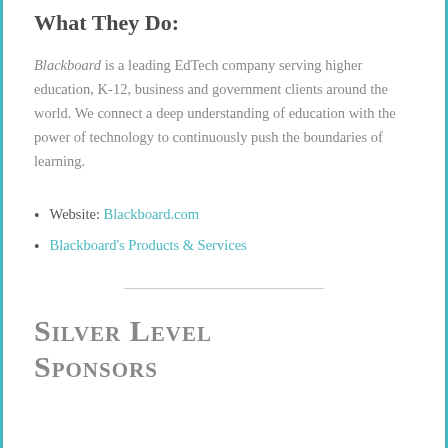What They Do:
Blackboard is a leading EdTech company serving higher education, K-12, business and government clients around the world. We connect a deep understanding of education with the power of technology to continuously push the boundaries of learning.
Website: Blackboard.com
Blackboard's Products & Services
Silver Level Sponsors